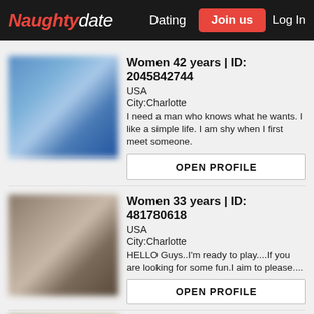Naughtydate | Dating | Join us | Log In
Women 42 years | ID: 2045842744
USA
City:Charlotte
I need a man who knows what he wants. I like a simple life. I am shy when I first meet someone.
OPEN PROFILE
Women 33 years | ID: 481780618
USA
City:Charlotte
HELLO Guys..I'm ready to play....If you are looking for some fun.I aim to please....
OPEN PROFILE
Women 35 years | ID: 746889557